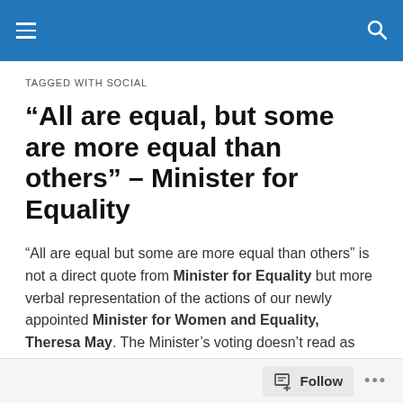Navigation menu and search
TAGGED WITH SOCIAL
“All are equal, but some are more equal than others” – Minister for Equality
“All are equal but some are more equal than others” is not a direct quote from Minister for Equality but more verbal representation of the actions of our newly appointed Minister for Women and Equality, Theresa May. The Minister’s voting doesn’t read as the best curriculum vitae for the job. The course of Theresa May’s political life does
Follow ...